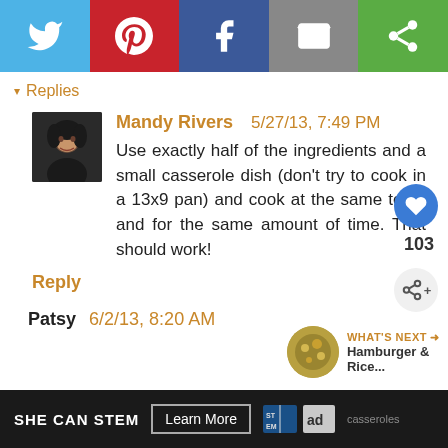[Figure (infographic): Social share bar with Twitter (blue), Pinterest (red), Facebook (blue), Email (gray), and another share icon (green)]
▾ Replies
[Figure (photo): Avatar photo of Mandy Rivers, a woman with dark hair]
Mandy Rivers   5/27/13, 7:49 PM
Use exactly half of the ingredients and a small casserole dish (don't try to cook in a 13x9 pan) and cook at the same temp and for the same amount of time. That should work!
Reply
Patsy  6/2/13, 8:20 AM
SHE CAN STEM  Learn More